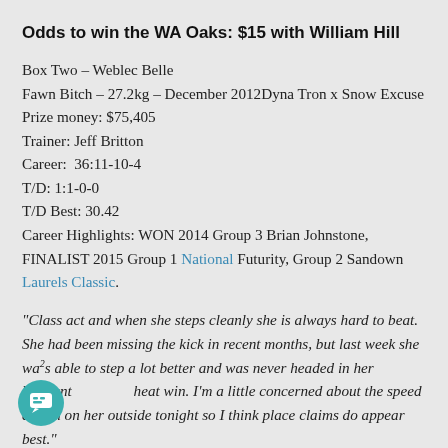Odds to win the WA Oaks: $15 with William Hill
Box Two – Weblec Belle
Fawn Bitch – 27.2kg – December 2012Dyna Tron x Snow Excuse
Prize money: $75,405
Trainer: Jeff Britton
Career:  36:11-10-4
T/D: 1:1-0-0
T/D Best: 30.42
Career Highlights: WON 2014 Group 3 Brian Johnstone, FINALIST 2015 Group 1 National Futurity, Group 2 Sandown Laurels Classic.
“Class act and when she steps cleanly she is always hard to beat. She had been missing the kick in recent months, but last week she was able to step a lot better and was never headed in her brilliant heat win. I’m a little concerned about the speed drawn on her outside tonight so I think place claims do appear best.”